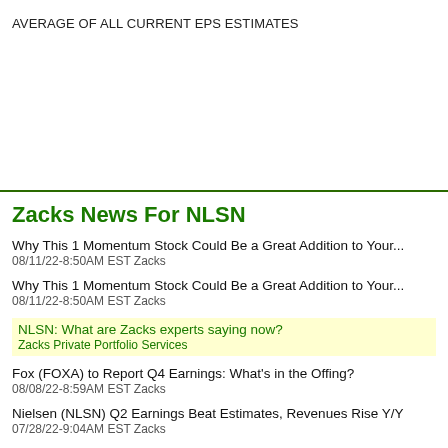AVERAGE OF ALL CURRENT EPS ESTIMATES
Zacks News For NLSN
Why This 1 Momentum Stock Could Be a Great Addition to Your...
08/11/22-8:50AM EST Zacks
Why This 1 Momentum Stock Could Be a Great Addition to Your...
08/11/22-8:50AM EST Zacks
NLSN: What are Zacks experts saying now?
Zacks Private Portfolio Services
Fox (FOXA) to Report Q4 Earnings: What's in the Offing?
08/08/22-8:59AM EST Zacks
Nielsen (NLSN) Q2 Earnings Beat Estimates, Revenues Rise Y/Y
07/28/22-9:04AM EST Zacks
Nielsen Holdings Plc (NLSN) Q2 Earnings Surpass Estimates